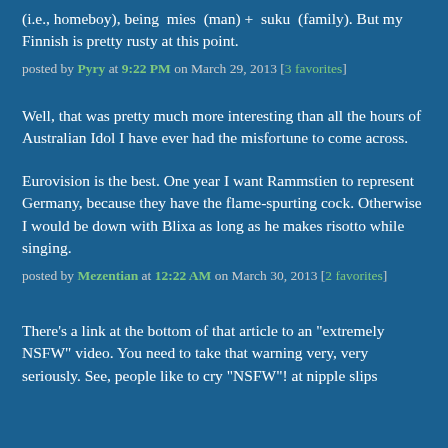(i.e., homeboy), being  mies  (man) +  suku  (family). But my Finnish is pretty rusty at this point.
posted by Pyry at 9:22 PM on March 29, 2013 [3 favorites]
Well, that was pretty much more interesting than all the hours of Australian Idol I have ever had the misfortune to come across.
Eurovision is the best. One year I want Rammstien to represent Germany, because they have the flame-spurting cock. Otherwise I would be down with Blixa as long as he makes risotto while singing.
posted by Mezentian at 12:22 AM on March 30, 2013 [2 favorites]
There's a link at the bottom of that article to an "extremely NSFW" video. You need to take that warning very, very seriously. See, people like to cry "NSFW"! at nipple slips